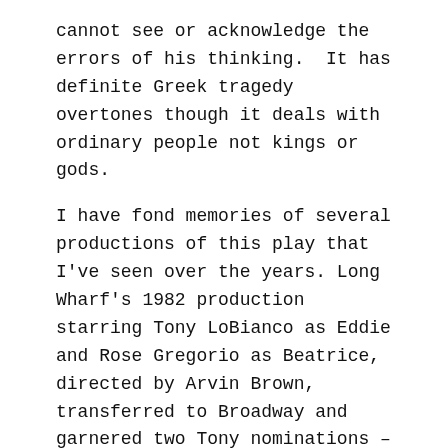cannot see or acknowledge the errors of his thinking.  It has definite Greek tragedy overtones though it deals with ordinary people not kings or gods.
I have fond memories of several productions of this play that I've seen over the years. Long Wharf's 1982 production starring Tony LoBianco as Eddie and Rose Gregorio as Beatrice, directed by Arvin Brown, transferred to Broadway and garnered two Tony nominations – for LoBianco and as best revival.  I also saw the Greg Mosher directed revival in 20xx with Liev Schreiber as Eddie, Jessica Hecht as Beatrice and Scarlett Johansson as Catherine.
[Figure (photo): Black and white photo showing two people, partially visible at the bottom of the page, cropped.]